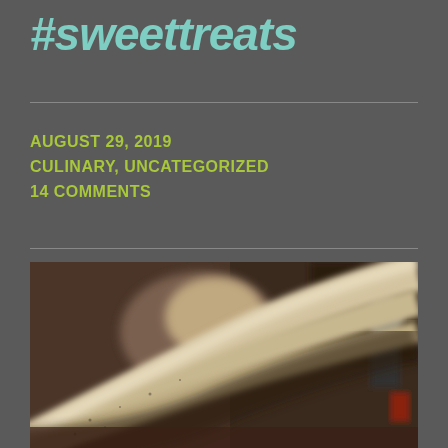#sweettreats
AUGUST 29, 2019
CULINARY, UNCATEGORIZED
14 COMMENTS
[Figure (photo): Close-up blurred photo of what appears to be pasta dough or cream-colored food tubes/strands in a kitchen setting, with blurred background showing kitchen equipment and a person]